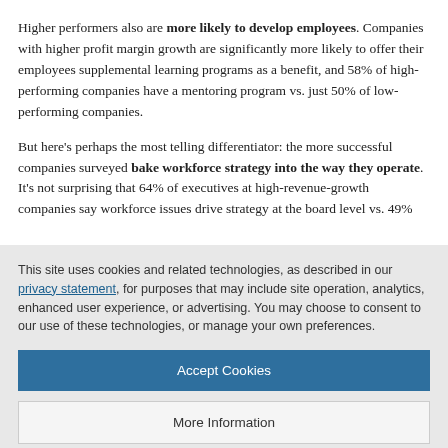Higher performers also are more likely to develop employees. Companies with higher profit margin growth are significantly more likely to offer their employees supplemental learning programs as a benefit, and 58% of high-performing companies have a mentoring program vs. just 50% of low-performing companies.
But here's perhaps the most telling differentiator: the more successful companies surveyed bake workforce strategy into the way they operate. It's not surprising that 64% of executives at high-revenue-growth companies say workforce issues drive strategy at the board level vs. 49%
This site uses cookies and related technologies, as described in our privacy statement, for purposes that may include site operation, analytics, enhanced user experience, or advertising. You may choose to consent to our use of these technologies, or manage your own preferences.
Accept Cookies
More Information
Privacy Policy | Powered by: TrustArc